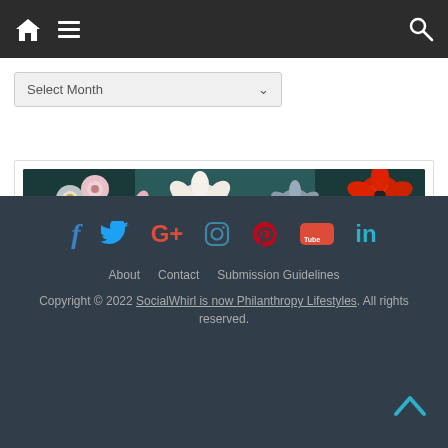[Figure (screenshot): Dark navigation bar with home icon, hamburger menu icon on left, search icon on right]
[Figure (other): Select Month dropdown control with chevron]
[Figure (photo): Floral painting or photograph showing colourful flowers including white, pink, red poppies and blue flowers on dark background, displayed in a white card with border]
f  (Twitter bird)  G+  (Instagram)  (Pinterest)  You Tube  in
About   Contact   Submission Guidelines
Copyright © 2022 SocialWhirl is now Philanthropy Lifestyles. All rights reserved.